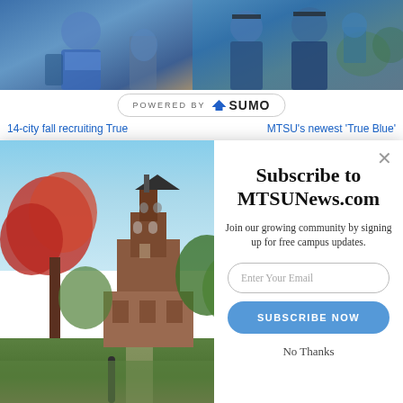[Figure (photo): Two cropped photos at top: left shows person in blue attire outdoors, right shows people in graduation gowns outdoors]
POWERED BY SUMO
14-city fall recruiting True
MTSU's newest 'True Blue'
[Figure (screenshot): Modal popup with campus bell tower photo on left (fall foliage, red trees) and subscription form on right]
Subscribe to MTSUNews.com
Join our growing community by signing up for free campus updates.
Enter Your Email
SUBSCRIBE NOW
No Thanks